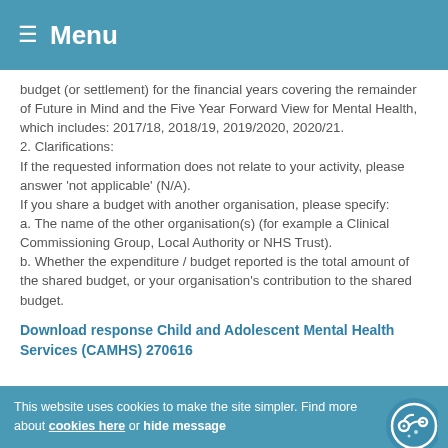≡ Menu
budget (or settlement) for the financial years covering the remainder of Future in Mind and the Five Year Forward View for Mental Health, which includes: 2017/18, 2018/19, 2019/2020, 2020/21.
2. Clarifications:
If the requested information does not relate to your activity, please answer 'not applicable' (N/A).
If you share a budget with another organisation, please specify:
a. The name of the other organisation(s) (for example a Clinical Commissioning Group, Local Authority or NHS Trust).
b. Whether the expenditure / budget reported is the total amount of the shared budget, or your organisation's contribution to the shared budget.
Download response Child and Adolescent Mental Health Services (CAMHS) 270616
This website uses cookies to make the site simpler. Find more about cookies here or hide message